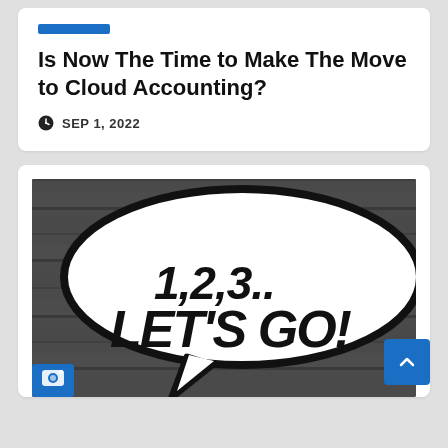Is Now The Time to Make The Move to Cloud Accounting?
SEP 1, 2022
[Figure (photo): Black and white photo of graffiti spray-painted speech bubble on wooden planks reading '1,2,3.. LET'S GO!']